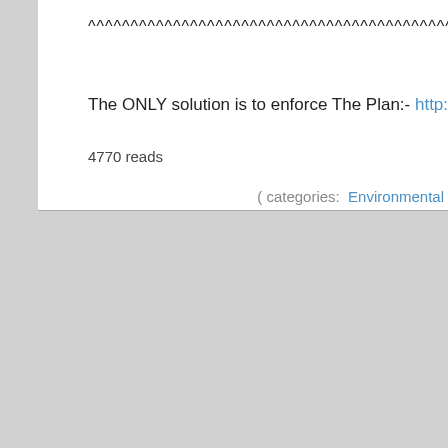^^^^^^^^^^^^^^^^^^^^^^^^^^^^^^^^^^^^^^^^^^^^^^^^^
The ONLY solution is to enforce The Plan:- http://jahtruth.net/plan.
4770 reads
( categories:  Environmental